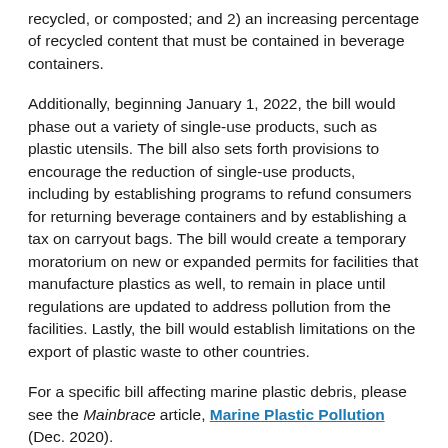recycled, or composted; and 2) an increasing percentage of recycled content that must be contained in beverage containers.
Additionally, beginning January 1, 2022, the bill would phase out a variety of single-use products, such as plastic utensils. The bill also sets forth provisions to encourage the reduction of single-use products, including by establishing programs to refund consumers for returning beverage containers and by establishing a tax on carryout bags. The bill would create a temporary moratorium on new or expanded permits for facilities that manufacture plastics as well, to remain in place until regulations are updated to address pollution from the facilities. Lastly, the bill would establish limitations on the export of plastic waste to other countries.
For a specific bill affecting marine plastic debris, please see the Mainbrace article, Marine Plastic Pollution (Dec. 2020).
H.R. 8632 – Ocean-Based Climate Solutions Act